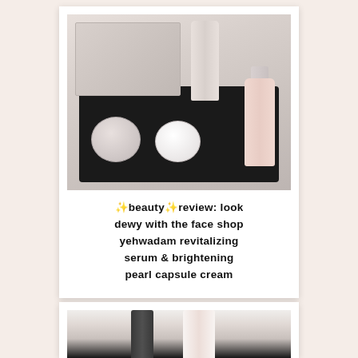[Figure (photo): Photo of skincare products arranged in a black tray: two round jars, a pink bottle with silver cap, a tube, and a boxed product on a white surface.]
✨beauty✨review: look dewy with the face shop yehwadam revitalizing serum & brightening pearl capsule cream
[Figure (photo): Partially visible photo at bottom of page showing skincare product bottles — a dark/black bottle and a white/cream bottle — on a light background.]